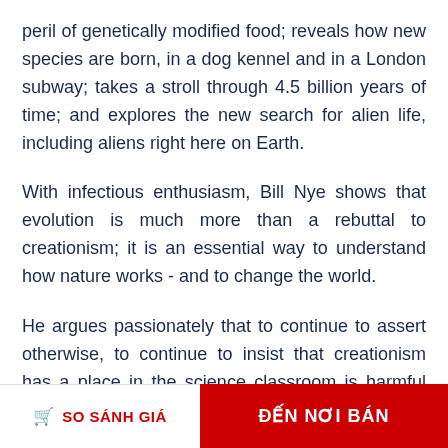peril of genetically modified food; reveals how new species are born, in a dog kennel and in a London subway; takes a stroll through 4.5 billion years of time; and explores the new search for alien life, including aliens right here on Earth.
With infectious enthusiasm, Bill Nye shows that evolution is much more than a rebuttal to creationism; it is an essential way to understand how nature works - and to change the world.
He argues passionately that to continue to assert otherwise, to continue to insist that creationism has a place in the science classroom is harmful not only to our children, but to the future of the greater world as well.
SO SÁNH GIÁ   ĐẾN NƠI BÁN